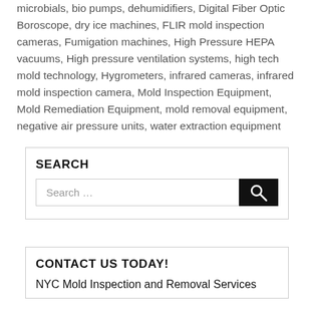microbials, bio pumps, dehumidifiers, Digital Fiber Optic Boroscope, dry ice machines, FLIR mold inspection cameras, Fumigation machines, High Pressure HEPA vacuums, High pressure ventilation systems, high tech mold technology, Hygrometers, infrared cameras, infrared mold inspection camera, Mold Inspection Equipment, Mold Remediation Equipment, mold removal equipment, negative air pressure units, water extraction equipment
SEARCH
Search …
CONTACT US TODAY!
NYC Mold Inspection and Removal Services